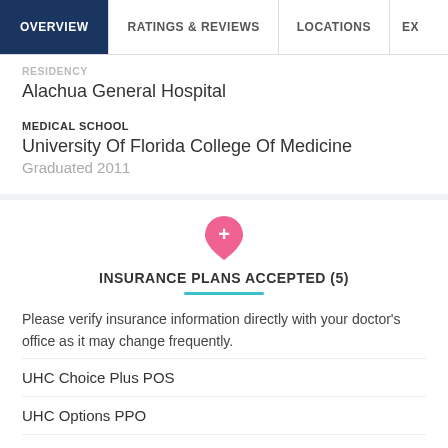OVERVIEW | RATINGS & REVIEWS | LOCATIONS | EX
RESIDENCY
Alachua General Hospital
MEDICAL SCHOOL
University Of Florida College Of Medicine
Graduated 2011
INSURANCE PLANS ACCEPTED (5)
Please verify insurance information directly with your doctor's office as it may change frequently.
UHC Choice Plus POS
UHC Options PPO
UHC Navigate HMO
MEDICA CHOICE WITH UNITEDHEALTHC